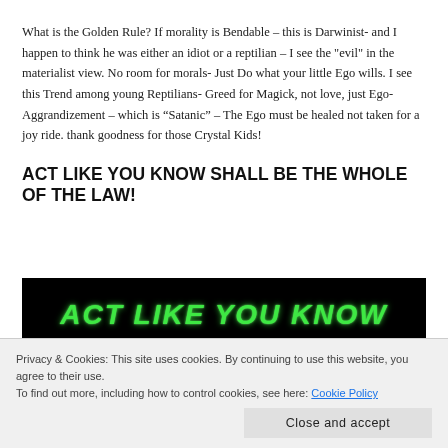What is the Golden Rule? If morality is Bendable – this is Darwinist- and I happen to think he was either an idiot or a reptilian – I see the "evil" in the materialist view. No room for morals- Just Do what your little Ego wills. I see this Trend among young Reptilians- Greed for Magick, not love, just Ego- Aggrandizement – which is “Satanic” – The Ego must be healed not taken for a joy ride. thank goodness for those Crystal Kids!
ACT LIKE YOU KNOW SHALL BE THE WHOLE OF THE LAW!
[Figure (photo): Dark banner image with green glowing text reading 'ACT LIKE YOU KNOW']
Privacy & Cookies: This site uses cookies. By continuing to use this website, you agree to their use.
To find out more, including how to control cookies, see here: Cookie Policy
Close and accept